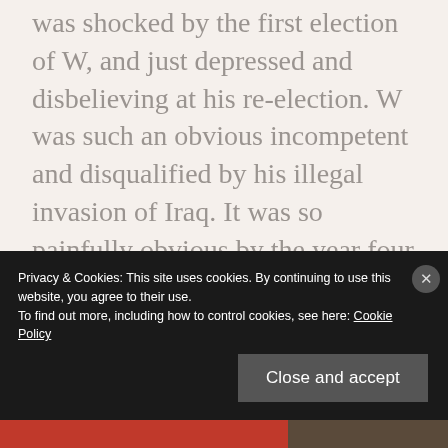was shocked by the first election of W, and just depressed and disbelieving at his re-election. W was such an obvious incompetent and disqualified by his illegal invasion of Iraq. It was so painfully obvious by the year four. But, Trump takes the cake. Willful ignorance and wishful thinking is no basis for a democracy. We are headed for real
Privacy & Cookies: This site uses cookies. By continuing to use this website, you agree to their use. To find out more, including how to control cookies, see here: Cookie Policy